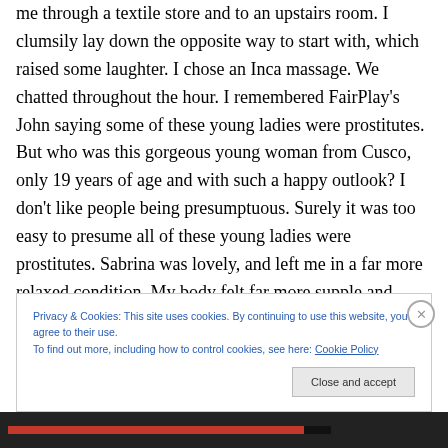me through a textile store and to an upstairs room. I clumsily lay down the opposite way to start with, which raised some laughter. I chose an Inca massage. We chatted throughout the hour. I remembered FairPlay's John saying some of these young ladies were prostitutes. But who was this gorgeous young woman from Cusco, only 19 years of age and with such a happy outlook? I don't like people being presumptuous. Surely it was too easy to presume all of these young ladies were prostitutes. Sabrina was lovely, and left me in a far more relaxed condition. My body felt far more supple and ache-
Privacy & Cookies: This site uses cookies. By continuing to use this website, you agree to their use.
To find out more, including how to control cookies, see here: Cookie Policy